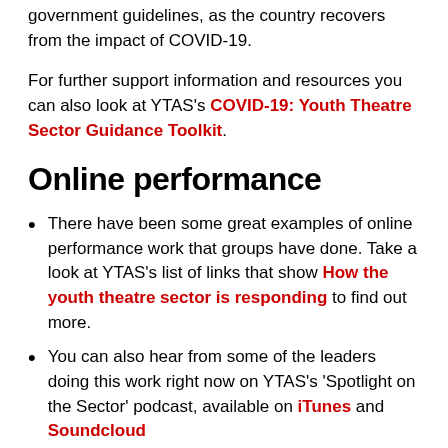government guidelines, as the country recovers from the impact of COVID-19.
For further support information and resources you can also look at YTAS's COVID-19: Youth Theatre Sector Guidance Toolkit.
Online performance
There have been some great examples of online performance work that groups have done. Take a look at YTAS's list of links that show How the youth theatre sector is responding to find out more.
You can also hear from some of the leaders doing this work right now on YTAS's 'Spotlight on the Sector' podcast, available on iTunes and Soundcloud